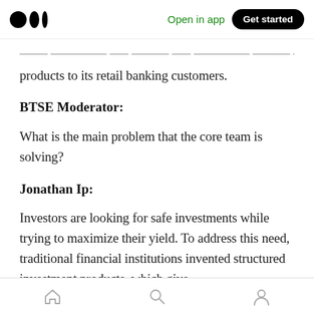Medium app header with logo, 'Open in app' link, and 'Get started' button
products to its retail banking customers.
BTSE Moderator:
What is the main problem that the core team is solving?
Jonathan Ip:
Investors are looking for safe investments while trying to maximize their yield. To address this need, traditional financial institutions invented structured investment products, which give
Bottom navigation bar with home, search, and profile icons